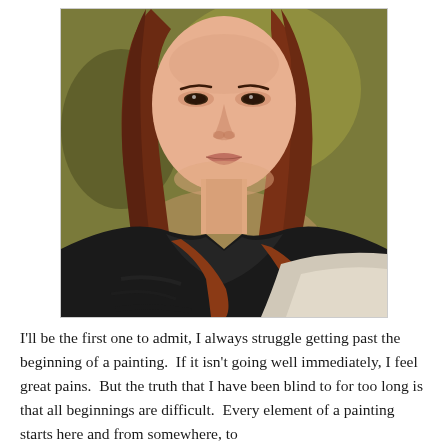[Figure (illustration): An oil or watercolor portrait painting of a woman with reddish-brown hair, a serious expression, wearing a dark top. The painting has an unfinished quality with loose brushwork, especially on the clothing and lower body. Background is an olive/yellow-green tone.]
I'll be the first one to admit, I always struggle getting past the beginning of a painting.  If it isn't going well immediately, I feel great pains.  But the truth that I have been blind to for too long is that all beginnings are difficult.  Every element of a painting starts here and from somewhere, to